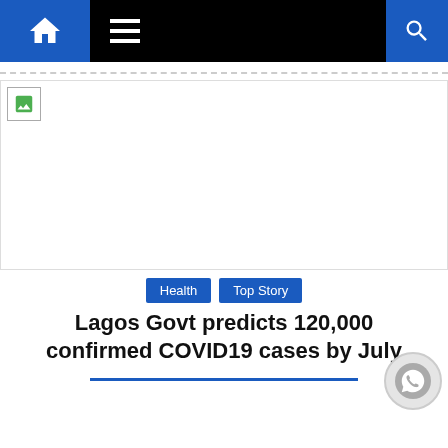Navigation bar with home, menu, and search icons
[Figure (photo): Banner image placeholder (broken image icon shown) spanning the width of the page]
Health  Top Story
Lagos Govt predicts 120,000 confirmed COVID19 cases by July